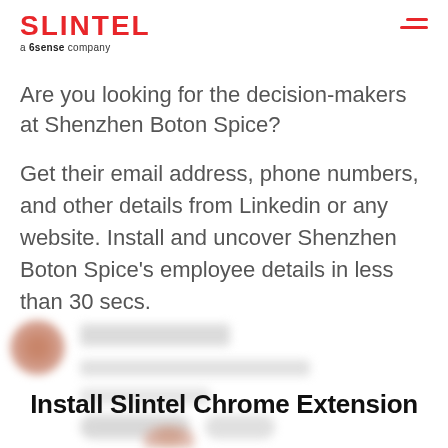SLINTEL a 6sense company
Are you looking for the decision-makers at Shenzhen Boton Spice?
Get their email address, phone numbers, and other details from Linkedin or any website. Install and uncover Shenzhen Boton Spice’s employee details in less than 30 secs.
[Figure (screenshot): Blurred/redacted employee profile card with avatar, name, and contact details hidden]
Install Slintel Chrome Extension